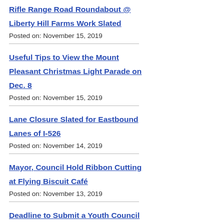Rifle Range Road Roundabout @ Liberty Hill Farms Work Slated
Posted on: November 15, 2019
Useful Tips to View the Mount Pleasant Christmas Light Parade on Dec. 8
Posted on: November 15, 2019
Lane Closure Slated for Eastbound Lanes of I-526
Posted on: November 14, 2019
Mayor, Council Hold Ribbon Cutting at Flying Biscuit Café
Posted on: November 13, 2019
Deadline to Submit a Youth Council Application is Nov. 30